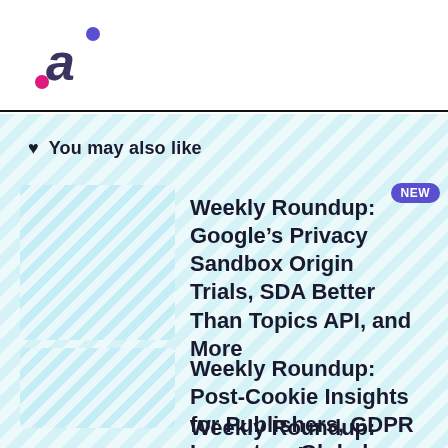You may also like
Weekly Roundup: Google’s Privacy Sandbox Origin Trials, SDA Better Than Topics API, and More
Weekly Roundup: Post-Cookie Insights for Publishers, GDPR Impact on Global Businesses, and More
Weekly Roundup: Contextual